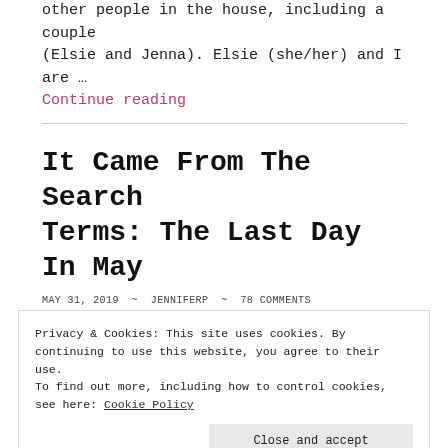other people in the house, including a couple (Elsie and Jenna). Elsie (she/her) and I are …
Continue reading
It Came From The Search Terms: The Last Day In May
MAY 31, 2019 ~ JENNIFERP ~ 78 COMMENTS
Hello gentle friends, it's time for that thing
Privacy & Cookies: This site uses cookies. By continuing to use this website, you agree to their use. To find out more, including how to control cookies, see here: Cookie Policy
Close and accept
https://www.youtube.com/watch?v=Hi5A9OCAyIk